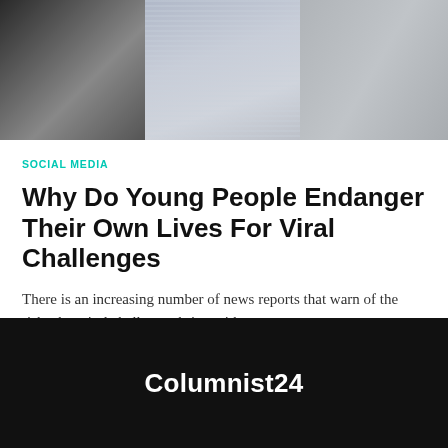[Figure (photo): Three-panel image at top: left panel dark/black, middle panel grayish texture with horizontal lines, right panel gray surface]
SOCIAL MEDIA
Why Do Young People Endanger Their Own Lives For Viral Challenges
There is an increasing number of news reports that warn of the risks that viral challenges bring with...
BY SADIE PINKINGTON · JUNE 30, 2021 · NO COMMENTS
Columnist24